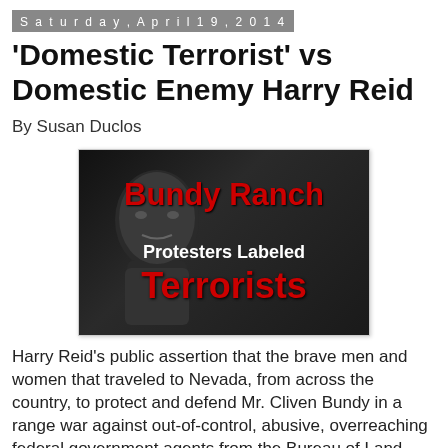Saturday, April 19, 2014
'Domestic Terrorist' vs Domestic Enemy Harry Reid
By Susan Duclos
[Figure (photo): Dark background image with a silhouette of a man's face, overlaid with bold red and white text reading 'Bundy Ranch' in red, 'Protesters Labeled' in white, and 'Terrorists' in large red text.]
Harry Reid's public assertion that the brave men and women that traveled to Nevada, from across the country, to protect and defend Mr. Cliven Bundy in a range war against out-of-control, abusive, overreaching federal government agents from the Bureau of Land Management (BLM), were